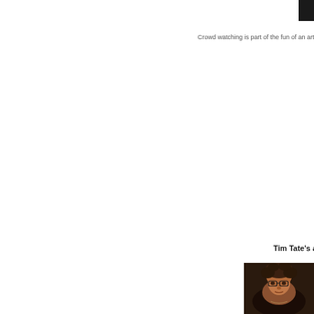Crowd watching is part of the fun of an art fair and a
Tim Tate's artw
[Figure (photo): Portrait photo of a person with curly dark hair and glasses, wearing dark clothing, visible from shoulders up, against a dark background]